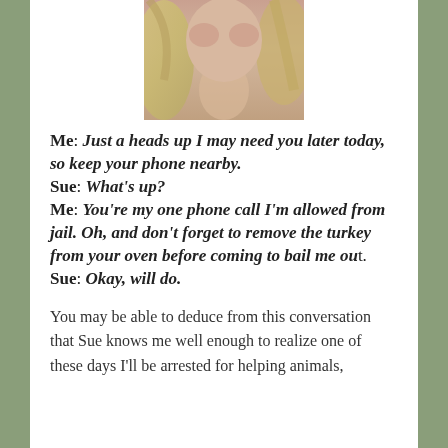[Figure (photo): Close-up photo of a woman's face/neck, blonde hair, light skin tone, partially cropped at top]
Me: Just a heads up I may need you later today, so keep your phone nearby. Sue: What's up? Me: You're my one phone call I'm allowed from jail. Oh, and don't forget to remove the turkey from your oven before coming to bail me out. Sue: Okay, will do.
You may be able to deduce from this conversation that Sue knows me well enough to realize one of these days I'll be arrested for helping animals,